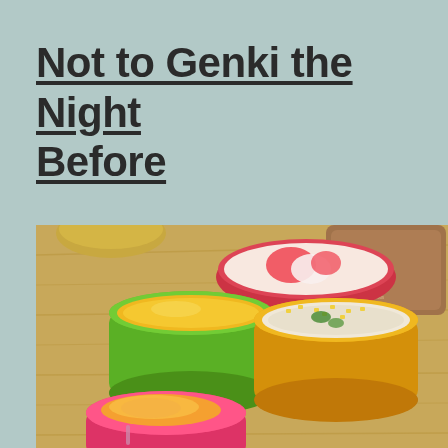Not to Genki the Night Before
[Figure (photo): Photo of colorful small food containers/jars on a wooden surface. A green container holds yellow soup or sauce, a yellow container holds rice or grain salad with green herbs, and a pink/red container with a lid sits in the foreground. A wooden board is visible in the background with a BentoBox Recipes.com watermark visible.]